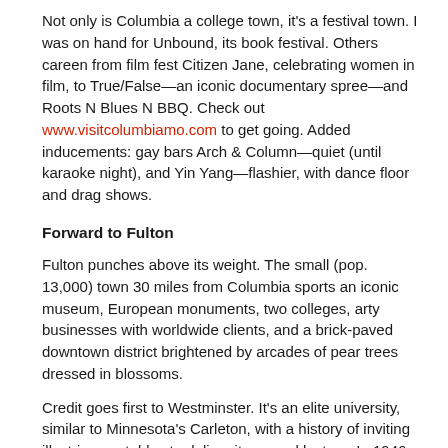Not only is Columbia a college town, it's a festival town. I was on hand for Unbound, its book festival. Others careen from film fest Citizen Jane, celebrating women in film, to True/False—an iconic documentary spree—and Roots N Blues N BBQ. Check out www.visitcolumbiamo.com to get going. Added inducements: gay bars Arch & Column—quiet (until karaoke night), and Yin Yang—flashier, with dance floor and drag shows.
Forward to Fulton
Fulton punches above its weight. The small (pop. 13,000) town 30 miles from Columbia sports an iconic museum, European monuments, two colleges, arty businesses with worldwide clients, and a brick-paved downtown district brightened by arcades of pear trees dressed in blossoms.
Credit goes first to Westminster. It's an elite university, similar to Minnesota's Carleton, with a history of inviting illustrious notables to deliver its annual lecture. In 1946, they decided—what the heck?—to invite Winston Churchill. To weigh in on the invitation, then-President Truman penned a footnote: “Come!” And the great Brit complied. He delivered what became his famous Iron Curtain speech, igniting the Cold War.